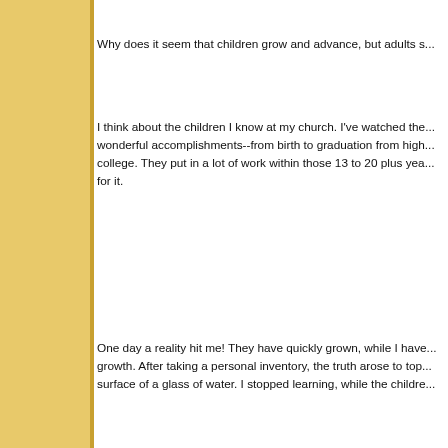Why does it seem that children grow and advance, but adults s...
I think about the children I know at my church. I've watched the... wonderful accomplishments--from birth to graduation from high... college. They put in a lot of work within those 13 to 20 plus yea... for it.
One day a reality hit me! They have quickly grown, while I have... growth. After taking a personal inventory, the truth arose to top... surface of a glass of water. I stopped learning, while the childre...
Don't get me wrong. This is in no way a put down. It is simply a... question. The question is, "Why haven't I done many of the thin... is because I stopped learning. Why? Life happened. Responsib... extracurricular activities. Then, at some point along the way, I s... disappointment set in, and I began to settle for less. The truth is... it doesn't have to stay this way. I can start something new, a ne... help, things can change and will change.
2 Corinthians 3:18 says,
But we all, with open face beholding as in a glass the glory of th... same image from glory to glory, even as by the Spirit of the Lor...